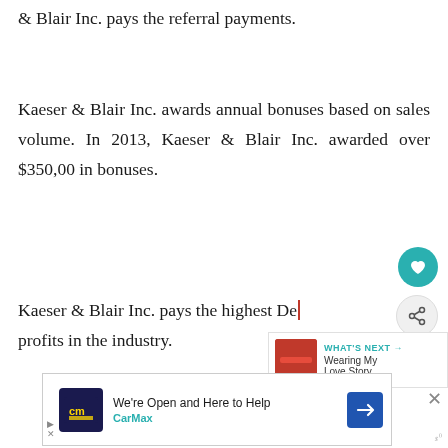& Blair Inc. pays the referral payments.
Kaeser & Blair Inc. awards annual bonuses based on sales volume. In 2013, Kaeser & Blair Inc. awarded over $350,00 in bonuses.
Kaeser & Blair Inc. pays the highest De profits in the industry.
[Figure (other): Heart icon button (teal circle with white heart)]
[Figure (other): Share icon button (gray circle with share symbol)]
[Figure (other): What's Next panel with thumbnail and text: Wearing My Love Story...]
[Figure (other): CarMax advertisement banner: We're Open and Here to Help, CarMax logo and navigation icon]